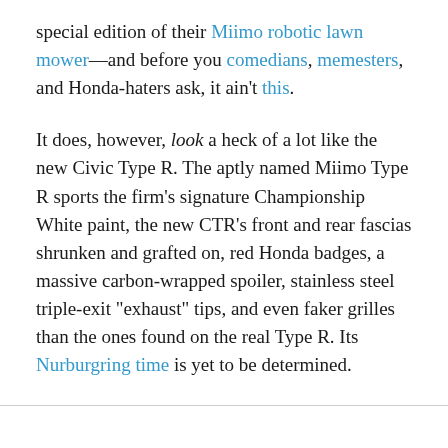special edition of their Miimo robotic lawn mower—and before you comedians, memesters, and Honda-haters ask, it ain't this.
It does, however, look a heck of a lot like the new Civic Type R. The aptly named Miimo Type R sports the firm's signature Championship White paint, the new CTR's front and rear fascias shrunken and grafted on, red Honda badges, a massive carbon-wrapped spoiler, stainless steel triple-exit "exhaust" tips, and even faker grilles than the ones found on the real Type R. Its Nurburgring time is yet to be determined.